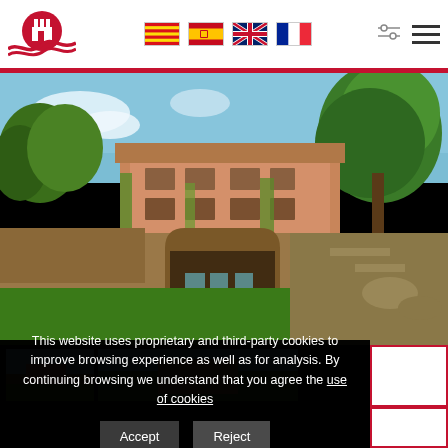Website header with logo, flag icons (Catalan, Spanish, UK, French), filter icon, and menu icon
[Figure (photo): Exterior photo of a large Mediterranean villa with lush green vegetation, stone walls, arched walkway, patio furniture, and a large pine tree against a blue sky]
[Figure (photo): Small thumbnail image of the villa exterior]
This website uses proprietary and third-party cookies to improve browsing experience as well as for analysis. By continuing browsing we understand that you agree the use of cookies
Accept
Reject